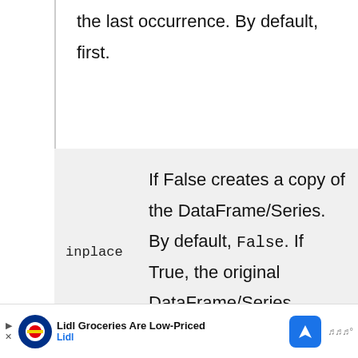the last occurrence. By default, first.
| Parameter | Description |
| --- | --- |
| inplace | If False creates a copy of the DataFrame/Series. By default, False. If True, the original DataFrame/Series updates. |
If True, the returning axis will start the numbers
[Figure (other): Advertisement banner: Lidl Groceries Are Low-Priced, Lidl logo, navigation icon]
[Figure (other): Social sidebar with heart button (blue circle), count label '1', and share button]